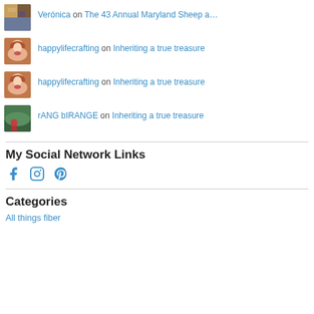Verónica on The 43 Annual Maryland Sheep a…
happylifecrafting on Inheriting  a true treasure
happylifecrafting on Inheriting  a true treasure
rANG bIRANGE on Inheriting  a true treasure
My Social Network Links
[Figure (infographic): Social network icons: Facebook, Instagram, Pinterest]
Categories
All things fiber